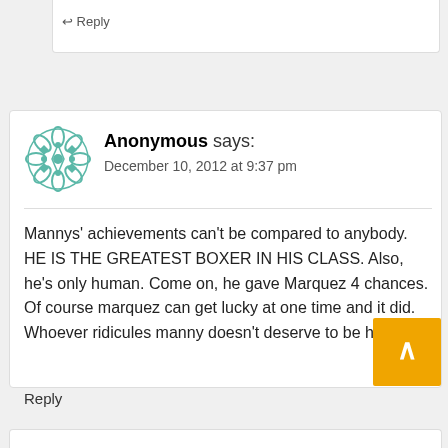Reply
Anonymous says:
December 10, 2012 at 9:37 pm
Mannys' achievements can't be compared to anybody. HE IS THE GREATEST BOXER IN HIS CLASS. Also, he's only human. Come on, he gave Marquez 4 chances. Of course marquez can get lucky at one time and it did. Whoever ridicules manny doesn't deserve to be heard.
Reply